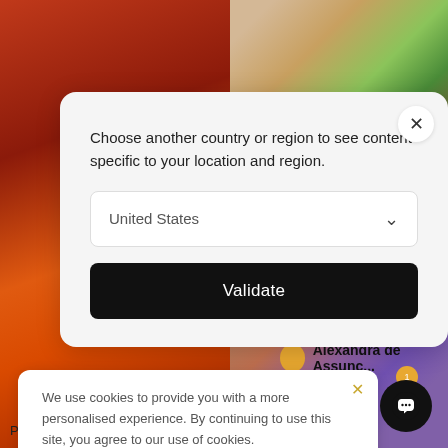[Figure (screenshot): Background images: left side shows a red/orange textured painting; top right shows an illustrated figure of a person with plants; bottom right shows a purple floral illustration.]
Choose another country or region to see content specific to your location and region.
United States
Validate
Alexandra de Assunc...
We use cookies to provide you with a more personalised experience. By continuing to use this site, you agree to our use of cookies. Find out more
Peinture 11-2021-79, 2022